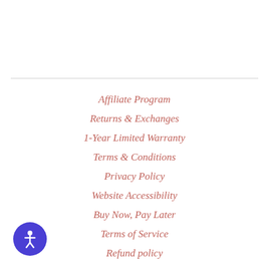Affiliate Program
Returns & Exchanges
1-Year Limited Warranty
Terms & Conditions
Privacy Policy
Website Accessibility
Buy Now, Pay Later
Terms of Service
Refund policy
[Figure (illustration): Accessibility icon button — blue circle with white person/wheelchair symbol]